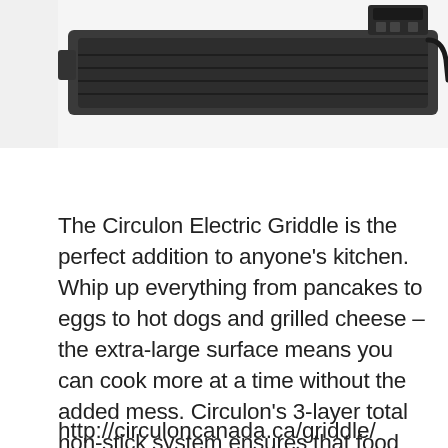[Figure (photo): Partial photo of a Circulon Electric Griddle appliance, showing the top portion with dark metallic body and controls/hinge mechanism visible at the top of the frame on a white background.]
The Circulon Electric Griddle is the perfect addition to anyone's kitchen.  Whip up everything from pancakes to eggs to hot dogs and grilled cheese – the extra-large surface means you can cook more at a time without the added mess. Circulon's 3-layer total non-stick system ensures that food cooks evenly and that clean up is a cinch. This is a great addition to the kitchen and the perfect gift to those in your life that love to cook and entertain!
http://circuloncanada.ca/griddle/ Electric griddle is